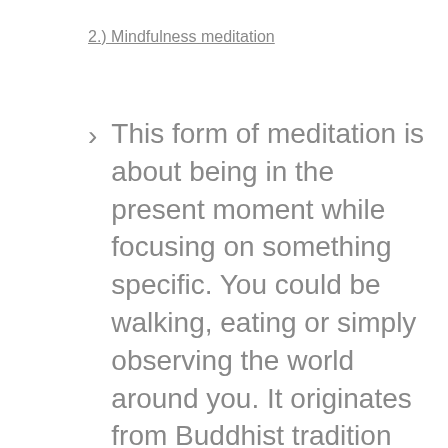2.) Mindfulness meditation
This form of meditation is about being in the present moment while focusing on something specific. You could be walking, eating or simply observing the world around you. It originates from Buddhist tradition and helps you to accept all that arises without judgement. The most common form of mindfulness meditation is simply sitting in stillness. When you find yourself in negative thought